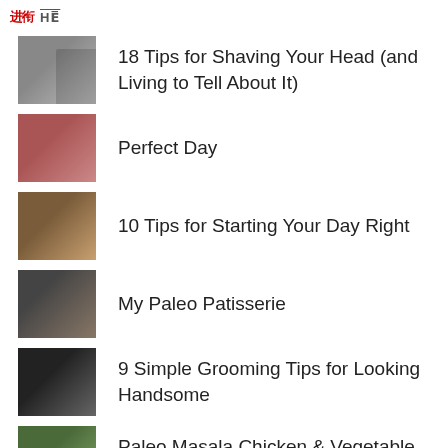HE
18 Tips for Shaving Your Head (and Living to Tell About It)
Perfect Day
10 Tips for Starting Your Day Right
My Paleo Patisserie
9 Simple Grooming Tips for Looking Handsome
Paleo Masala Chicken & Vegetable Curry